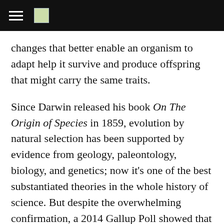changes that better enable an organism to adapt help it survive and produce offspring that might carry the same traits.
Since Darwin released his book On The Origin of Species in 1859, evolution by natural selection has been supported by evidence from geology, paleontology, biology, and genetics; now it’s one of the best substantiated theories in the whole history of science. But despite the overwhelming confirmation, a 2014 Gallup Poll showed that a whopping 73 percent of Americans still subscribed to one form of creationism or another. So to help those people understand that humans didn’t just magically arrive